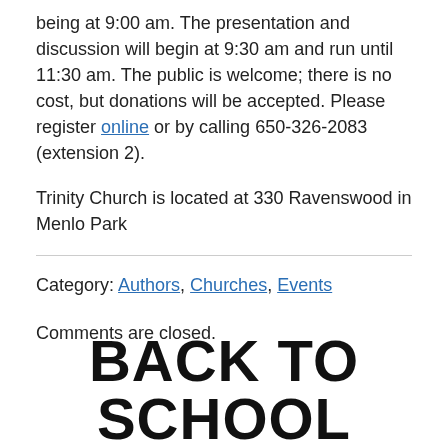being at 9:00 am. The presentation and discussion will begin at 9:30 am and run until 11:30 am. The public is welcome; there is no cost, but donations will be accepted. Please register online or by calling 650-326-2083 (extension 2).
Trinity Church is located at 330 Ravenswood in Menlo Park
Category: Authors, Churches, Events
Comments are closed.
BACK TO SCHOOL